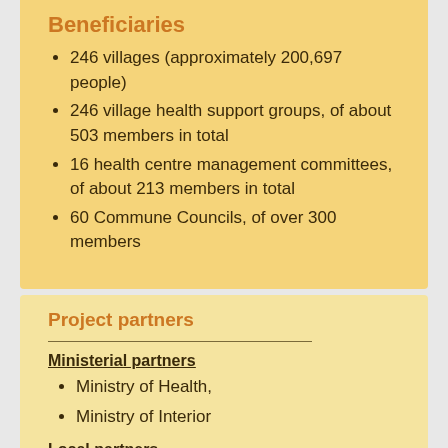Beneficiaries
246 villages (approximately 200,697 people)
246 village health support groups, of about 503 members in total
16 health centre management committees, of about 213 members in total
60 Commune Councils, of over 300 members
Project partners
Ministerial partners
Ministry of Health,
Ministry of Interior
Local partners
Provin…